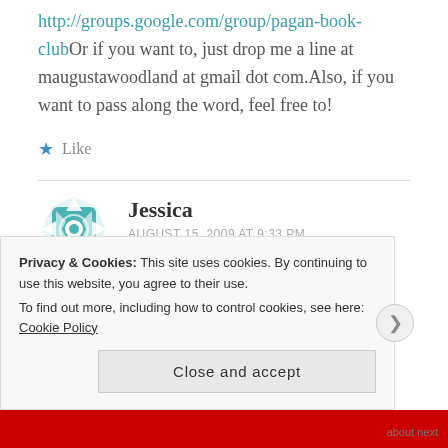http://groups.google.com/group/pagan-book-clubOr if you want to, just drop me a line at maugustawoodland at gmail dot com.Also, if you want to pass along the word, feel free to!
Like
Jessica
AUGUST 15, 2009 AT 9:33 PM
I just bought it now. I have Amazon Prime so it will
Privacy & Cookies: This site uses cookies. By continuing to use this website, you agree to their use. To find out more, including how to control cookies, see here: Cookie Policy
Close and accept